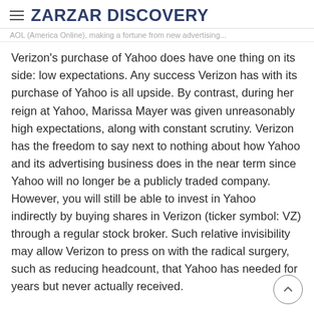ZARZAR DISCOVERY
AOL (America Online), making a fortune from new advertising...
Verizon's purchase of Yahoo does have one thing on its side: low expectations. Any success Verizon has with its purchase of Yahoo is all upside. By contrast, during her reign at Yahoo, Marissa Mayer was given unreasonably high expectations, along with constant scrutiny. Verizon has the freedom to say next to nothing about how Yahoo and its advertising business does in the near term since Yahoo will no longer be a publicly traded company. However, you will still be able to invest in Yahoo indirectly by buying shares in Verizon (ticker symbol: VZ) through a regular stock broker. Such relative invisibility may allow Verizon to press on with the radical surgery, such as reducing headcount, that Yahoo has needed for years but never actually received.